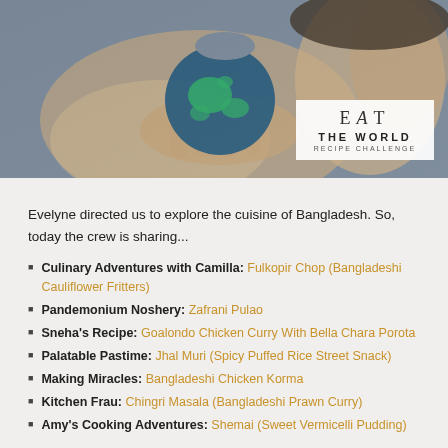[Figure (photo): Person biting into a globe (Earth), with 'EAT THE WORLD RECIPE CHALLENGE' logo overlay in bottom right corner]
Evelyne directed us to explore the cuisine of Bangladesh. So, today the crew is sharing...
Culinary Adventures with Camilla: Fulkopir Chop (Bangladeshi Cauliflower Fritters)
Pandemonium Noshery: Zafrani Pulao
Sneha's Recipe: Goalondo Chicken Curry With Bella Chara Porota
Palatable Pastime: Jhal Muri (Spicy Puffed Rice Street Snack)
Making Miracles: Bangladeshi Chicken Korma
Kitchen Frau: Chingri Masala (Bangladeshi Prawn Curry)
Amy's Cooking Adventures: Shemai (Sweet Vermicelli Pudding)